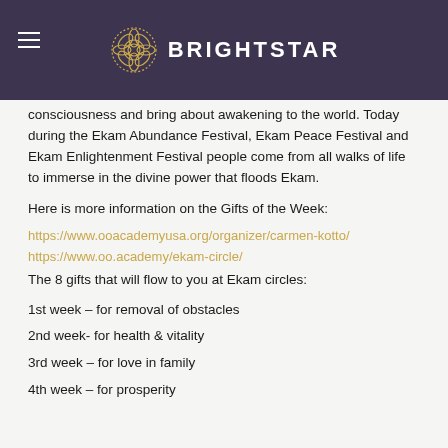BRIGHTSTAR
consciousness and bring about awakening to the world. Today during the Ekam Abundance Festival, Ekam Peace Festival and Ekam Enlightenment Festival people come from all walks of life to immerse in the divine power that floods Ekam.
Here is more information on the Gifts of the Week:
https://www.ooacademyusa.org/organizer/carmen-kotto/
https://www.oo.academy/ekam-circle/
The 8 gifts that will flow to you at Ekam circles:
1st week – for removal of obstacles
2nd week- for health & vitality
3rd week – for love in family
4th week – for prosperity